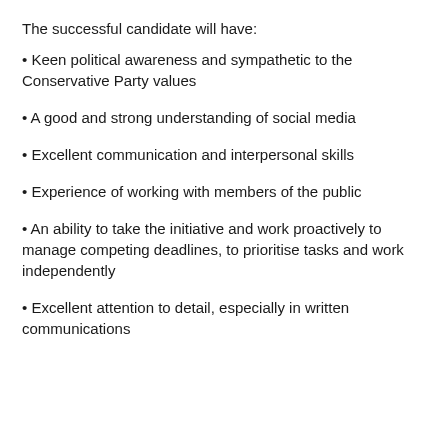The successful candidate will have:
Keen political awareness and sympathetic to the Conservative Party values
A good and strong understanding of social media
Excellent communication and interpersonal skills
Experience of working with members of the public
An ability to take the initiative and work proactively to manage competing deadlines, to prioritise tasks and work independently
Excellent attention to detail, especially in written communications